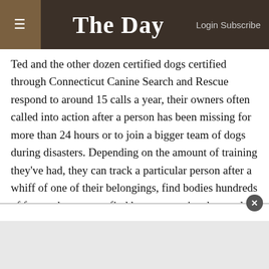The Day | Login Subscribe
Ted and the other dozen certified dogs certified through Connecticut Canine Search and Rescue respond to around 15 calls a year, their owners often called into action after a person has been missing for more than 24 hours or to join a bigger team of dogs during disasters. Depending on the amount of training they've had, they can track a particular person after a whiff of one of their belongings, find bodies hundreds of feet underwater or find human remains that could be anywhere in a 40-acre area in a couple of hours.
The dogs' heightened sense of smell can make the search...